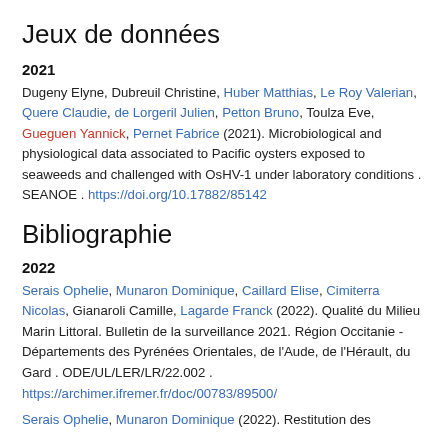Jeux de données
2021
Dugeny Elyne, Dubreuil Christine, Huber Matthias, Le Roy Valerian, Quere Claudie, de Lorgeril Julien, Petton Bruno, Toulza Eve, Gueguen Yannick, Pernet Fabrice (2021). Microbiological and physiological data associated to Pacific oysters exposed to seaweeds and challenged with OshV-1 under laboratory conditions . SEANOE . https://doi.org/10.17882/85142
Bibliographie
2022
Serais Ophelie, Munaron Dominique, Caillard Elise, Cimiterra Nicolas, Gianaroli Camille, Lagarde Franck (2022). Qualité du Milieu Marin Littoral. Bulletin de la surveillance 2021. Région Occitanie - Départements des Pyrénées Orientales, de l'Aude, de l'Hérault, du Gard . ODE/UL/LER/LR/22.002 . https://archimer.ifremer.fr/doc/00783/89500/
Serais Ophelie, Munaron Dominique (2022). Restitution des